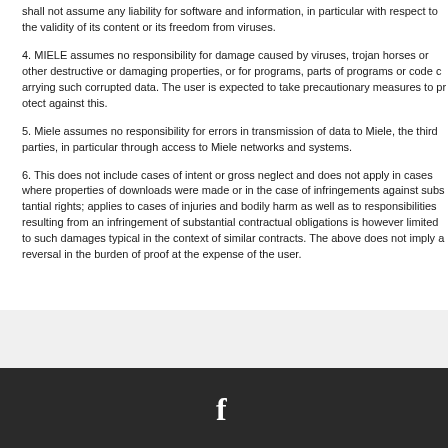shall not assume any liability for software and information, in particular with respect to the validity of its content or its freedom from viruses.
4. MIELE assumes no responsibility for damage caused by viruses, trojan horses or other destructive or damaging properties, or for programs, parts of programs or code carrying such corrupted data. The user is expected to take precautionary measures to protect against this.
5. Miele assumes no responsibility for errors in transmission of data to Miele, the user or third parties, in particular through access to Miele networks and systems.
6. This does not include cases of intent or gross neglect and does not apply in cases where properties of downloads were made or in the case of infringements against substantial rights; applies to cases of injuries and bodily harm as well as to responsibilities resulting from an infringement of substantial contractual obligations is however limited to such damages typical in the context of similar contracts. The above does not imply a reversal in burden of proof at the expense of the user.
[Figure (logo): Facebook icon (white 'f' on dark background footer)]